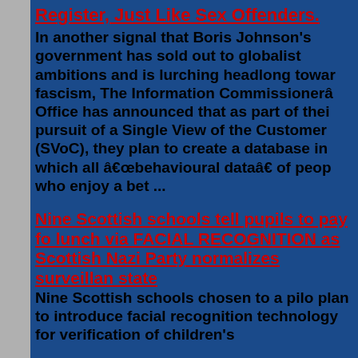Register, Just Like Sex Offenders.
In another signal that Boris Johnson's government has sold out to globalist ambitions and is lurching headlong towards fascism, The Information Commissioner's Office has announced that as part of their pursuit of a Single View of the Customer (SVoC), they plan to create a database in which all “behavioural data” of people who enjoy a bet ...
Nine Scottish schools tell pupils to pay for lunch via FACIAL RECOGNITION as Scottish Nazi Party normalizes surveillance state
Nine Scottish schools chosen to a pilot plan to introduce facial recognition technology for verification of children's...